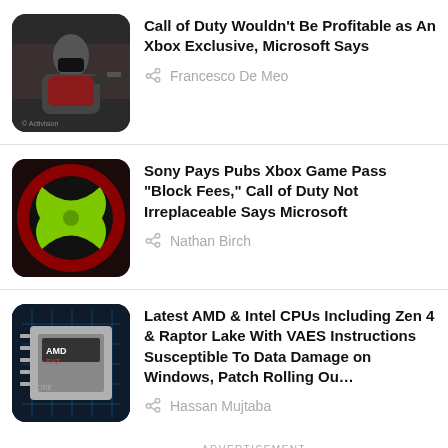[Figure (screenshot): Thumbnail image of a Call of Duty character with mask holding a weapon]
Call of Duty Wouldn’t Be Profitable as An Xbox Exclusive, Microsoft Says
Francesco De Meo
[Figure (screenshot): Xbox logo with green X on dark red background]
Sony Pays Pubs Xbox Game Pass “Block Fees,” Call of Duty Not Irreplaceable Says Microsoft
Nathan Birch
[Figure (screenshot): AMD Ryzen CPU chip image with blue circuit board background]
Latest AMD & Intel CPUs Including Zen 4 & Raptor Lake With VAES Instructions Susceptible To Data Damage on Windows, Patch Rolling Ou…
Hassan Mujtaba
ADVERTISEMENT
Over 25 Years in Business. On Time and Honest